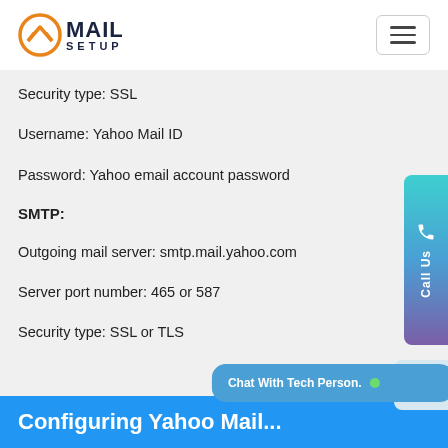Mail Setup
Security type: SSL
Username: Yahoo Mail ID
Password: Yahoo email account password
SMTP:
Outgoing mail server: smtp.mail.yahoo.com
Server port number: 465 or 587
Security type: SSL or TLS
Chat With Tech Person.
Configuring Yahoo Mail...